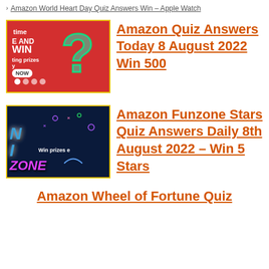Amazon World Heart Day Quiz Answers Win – Apple Watch
[Figure (screenshot): Amazon Quiz promotional banner with red background showing question mark, text 'time', 'AND', 'WIN', 'ting prizes', 'y', 'NOW' button and navigation dots]
Amazon Quiz Answers Today 8 August 2022 Win 500
[Figure (screenshot): Amazon Funzone banner with dark blue background, colorful 'WIN ZONE' text, and 'Win prizes e' text]
Amazon Funzone Stars Quiz Answers Daily 8th August 2022 – Win 5 Stars
Amazon Wheel of Fortune Quiz